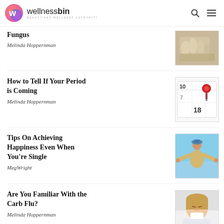wellnessbin — BEAUTY AND WELLNESS AUTHORITY
Fungus
Melinda Hoppernman
How to Tell If Your Period is Coming
Melinda Hoppernman
Tips On Achieving Happiness Even When You're Single
MegWright
Are You Familiar With the Carb Flu?
Melinda Hoppernman